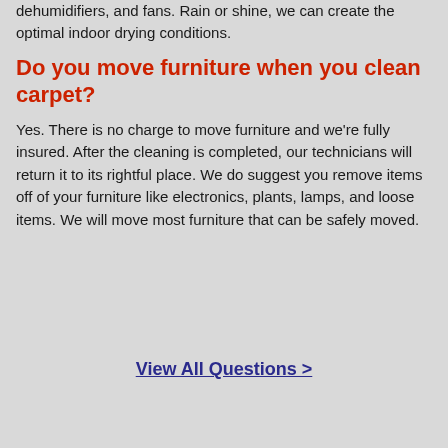dehumidifiers, and fans. Rain or shine, we can create the optimal indoor drying conditions.
Do you move furniture when you clean carpet?
Yes. There is no charge to move furniture and we're fully insured. After the cleaning is completed, our technicians will return it to its rightful place. We do suggest you remove items off of your furniture like electronics, plants, lamps, and loose items. We will move most furniture that can be safely moved.
View All Questions >